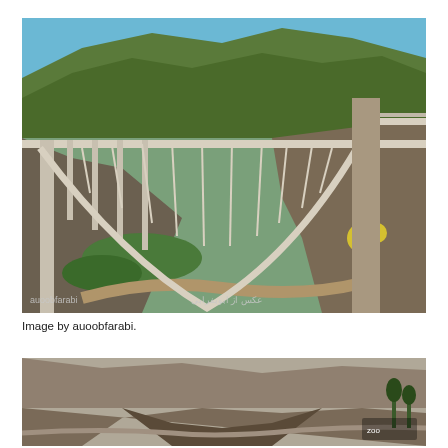[Figure (photo): Photograph of a large arch railway bridge spanning a deep valley with rocky mountains in the background. The bridge has a white steel arch structure with vertical hangers supporting the deck. The valley below shows a river, green vegetation patches, and arid rocky terrain. Text 'auoobfarabi' appears in the lower left corner and Persian script in the lower right. Taken by auoobfarabi.]
Image by auoobfarabi.
[Figure (photo): Partial photograph of a mountainous valley landscape with dry rocky hills, a winding road, and sparse trees visible at the right edge.]